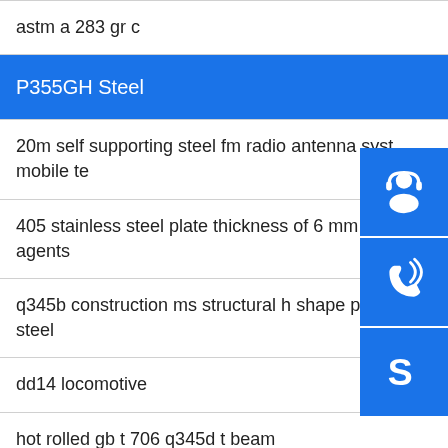astm a 283 gr c
P355GH Steel
20m self supporting steel fm radio antenna system mobile te
405 stainless steel plate thickness of 6 mm level agents
q345b construction ms structural h shape profile steel
dd14 locomotive
hot rolled gb t 706 q345d t beam